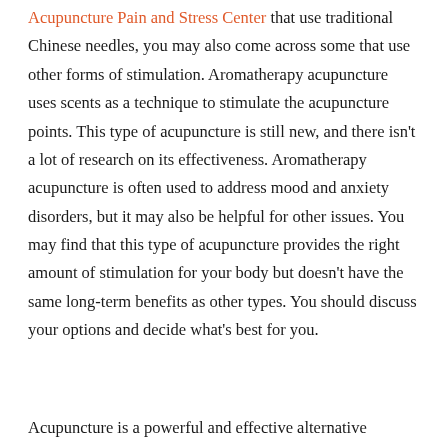Acupuncture Pain and Stress Center that use traditional Chinese needles, you may also come across some that use other forms of stimulation. Aromatherapy acupuncture uses scents as a technique to stimulate the acupuncture points. This type of acupuncture is still new, and there isn't a lot of research on its effectiveness. Aromatherapy acupuncture is often used to address mood and anxiety disorders, but it may also be helpful for other issues. You may find that this type of acupuncture provides the right amount of stimulation for your body but doesn't have the same long-term benefits as other types. You should discuss your options and decide what's best for you.
Acupuncture is a powerful and effective alternative